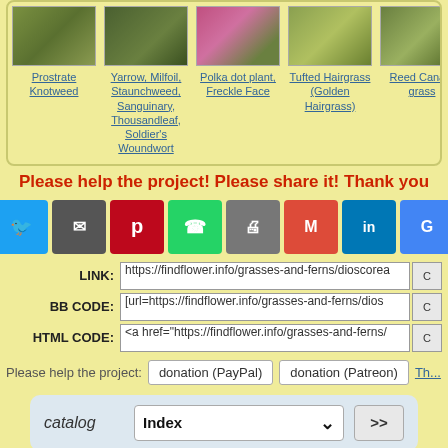[Figure (other): Row of plant thumbnail images with captions: Prostrate Knotweed, Yarrow/Milfoil/Staunchweed/Sanguinary/Thousandleaf/Soldier's Woundwort, Polka dot plant/Freckle Face, Tufted Hairgrass (Golden Hairgrass), Reed Canary grass, Bishop's Go... Grou...]
Please help the project! Please share it! Thank you
[Figure (infographic): Row of social sharing buttons: Facebook, Twitter, Email, Pinterest, WhatsApp, Print, Gmail, LinkedIn, Google+, More]
LINK: https://findflower.info/grasses-and-ferns/dioscorea
BB CODE: [url=https://findflower.info/grasses-and-ferns/dios
HTML CODE: <a href="https://findflower.info/grasses-and-ferns/
Please help the project: donation (PayPal)  donation (Patreon)  Th...
catalog   Index  >>
seeds   Index  >>